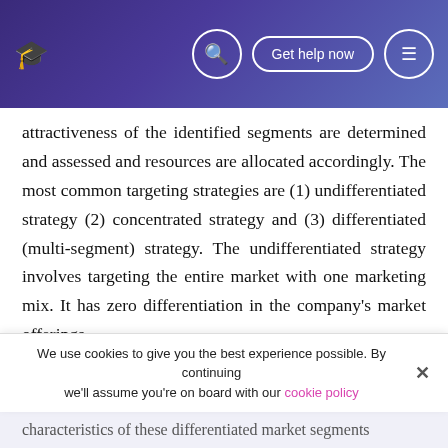Get help now
attractiveness of the identified segments are determined and assessed and resources are allocated accordingly. The most common targeting strategies are (1) undifferentiated strategy (2) concentrated strategy and (3) differentiated (multi-segment) strategy. The undifferentiated strategy involves targeting the entire market with one marketing mix. It has zero differentiation in the company’s market offerings.
Businesses adopting a concentrated strategy direct their marketing effort towards a single segment separated from several other identified segments. The multi segment strategy, as explained its name itself, focuses on several
We use cookies to give you the best experience possible. By continuing we’ll assume you’re on board with our cookie policy
characteristics of these differentiated market segments